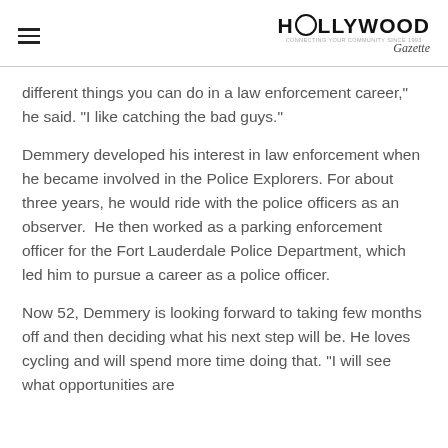HOLLYWOOD [logo]
different things you can do in a law enforcement career,” he said. “I like catching the bad guys.”
Demmery developed his interest in law enforcement when he became involved in the Police Explorers. For about three years, he would ride with the police officers as an observer.  He then worked as a parking enforcement officer for the Fort Lauderdale Police Department, which led him to pursue a career as a police officer.
Now 52, Demmery is looking forward to taking few months off and then deciding what his next step will be. He loves cycling and will spend more time doing that. “I will see what opportunities are